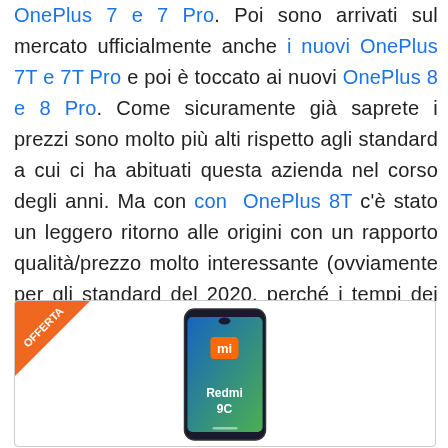OnePlus 7 e 7 Pro. Poi sono arrivati sul mercato ufficialmente anche i nuovi OnePlus 7T e 7T Pro e poi è toccato ai nuovi OnePlus 8 e 8 Pro. Come sicuramente già saprete i prezzi sono molto più alti rispetto agli standard a cui ci ha abituati questa azienda nel corso degli anni. Ma con OnePlus 8T c'è stato un leggero ritorno alle origini con un rapporto qualità/prezzo molto interessante (ovviamente per gli standard del 2020, perché i tempi dei flagship killer a 300 euro sono ormai lontani).
[Figure (other): Advertisement box with OFFERTA badge in top-left corner and a Xiaomi Redmi 9C smartphone image centered inside the box.]